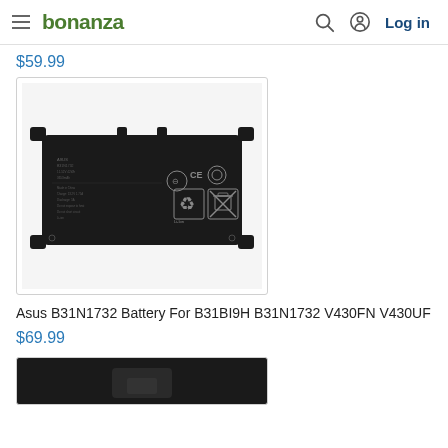bonanza | Log in
$59.99
[Figure (photo): Asus B31N1732 laptop battery, rectangular black battery with certification symbols (CE, recycling, WEEE) and screw mounting tabs at corners]
Asus B31N1732 Battery For B31BI9H B31N1732 V430FN V430UF
$69.99
[Figure (photo): Partial view of another laptop battery product, dark colored, partially cut off at bottom of page]